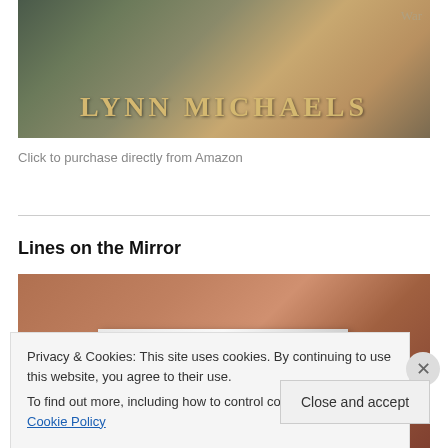[Figure (illustration): Book cover image showing author name LYNN MICHAELS in gold serif letters on a dark textured background. 'War' text visible in top right corner.]
Click to purchase directly from Amazon
Lines on the Mirror
[Figure (illustration): Book cover image for 'Lines on the Mirror' showing a person's torso with arms raised and a book spine in front of a partially visible face.]
Privacy & Cookies: This site uses cookies. By continuing to use this website, you agree to their use.
To find out more, including how to control cookies, see here: Cookie Policy
Close and accept